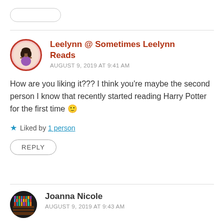Leelynn @ Sometimes Leelynn Reads
AUGUST 9, 2019 AT 9:41 AM
How are you liking it??? I think you're maybe the second person I know that recently started reading Harry Potter for the first time 🙂
Liked by 1 person
REPLY
Joanna Nicole
AUGUST 9, 2019 AT 9:43 AM